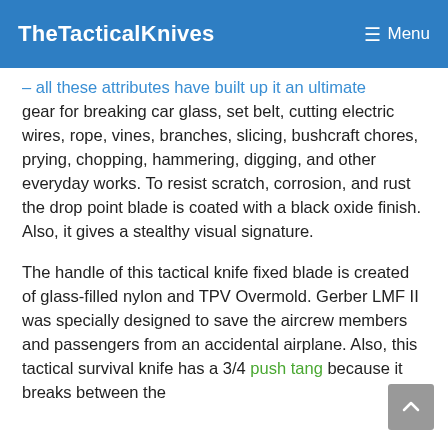TheTacticalKnives | Menu
– all these attributes have built up it an ultimate gear for breaking car glass, set belt, cutting electric wires, rope, vines, branches, slicing, bushcraft chores, prying, chopping, hammering, digging, and other everyday works. To resist scratch, corrosion, and rust the drop point blade is coated with a black oxide finish. Also, it gives a stealthy visual signature.
The handle of this tactical knife fixed blade is created of glass-filled nylon and TPV Overmold. Gerber LMF II was specially designed to save the aircrew members and passengers from an accidental airplane. Also, this tactical survival knife has a 3/4 push tang because it breaks between the